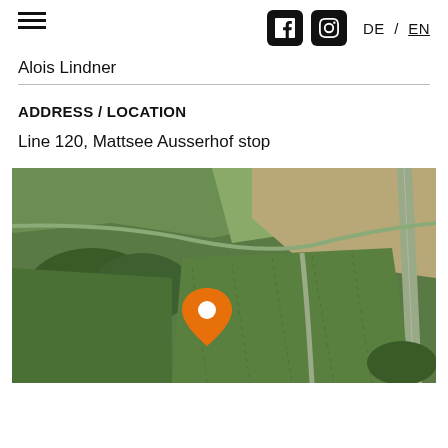☰  f  📷  DE / EN
Alois Lindner
ADDRESS / LOCATION
Line 120, Mattsee Ausserhof stop
[Figure (map): Aerial/satellite map view of agricultural fields near Mattsee with an orange location pin marker in the center of the image.]